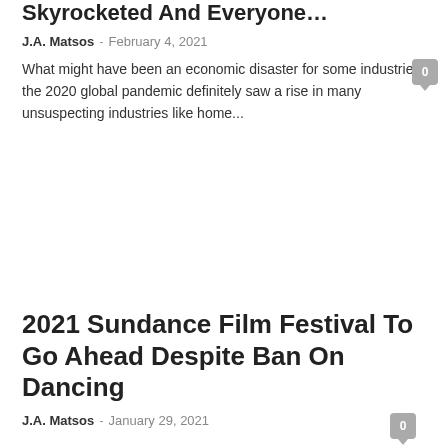Skyrocketed And Everyone…
J.A. Matsos - February 4, 2021
What might have been an economic disaster for some industries, the 2020 global pandemic definitely saw a rise in many unsuspecting industries like home...
2021 Sundance Film Festival To Go Ahead Despite Ban On Dancing
J.A. Matsos - January 29, 2021